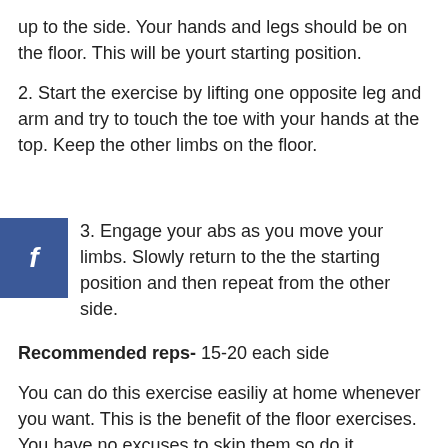up to the side. Your hands and legs should be on the floor. This will be yourt starting position.
2. Start the exercise by lifting one opposite leg and arm and try to touch the toe with your hands at the top. Keep the other limbs on the floor.
3. Engage your abs as you move your limbs. Slowly return to the the starting position and then repeat from the other side.
Recommended reps- 15-20 each side
You can do this exercise easiliy at home whenever you want. This is the benefit of the floor exercises. You have no excuses to skip them so do it consistently to get better results.